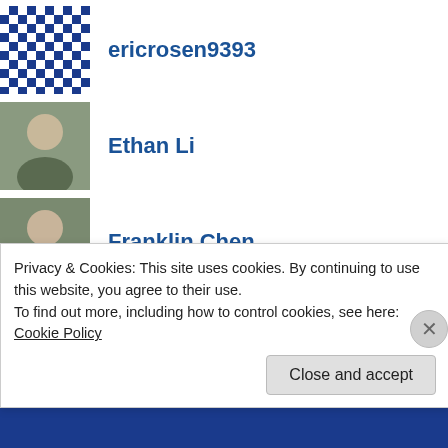ericrosen9393
Ethan Li
Franklin Chen
Justin Sarkar
Kostya Kavutskiy
hibikisakai
Isaac Steincamp
Jennifer Yu
Privacy & Cookies: This site uses cookies. By continuing to use this website, you agree to their use.
To find out more, including how to control cookies, see here: Cookie Policy
Close and accept